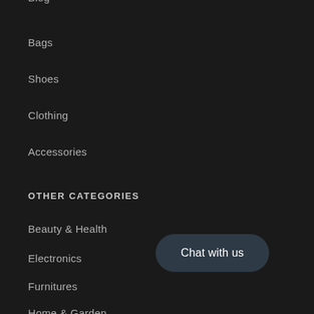Blog
Bags
Shoes
Clothing
Accessories
OTHER CATEGORIES
Beauty & Health
Electronics
Furnitures
Home & Garden
Chat with us